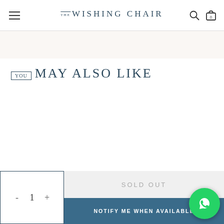THE WISHING CHAIR
YOU MAY ALSO LIKE
SOLD OUT
NOTIFY ME WHEN AVAILABLE